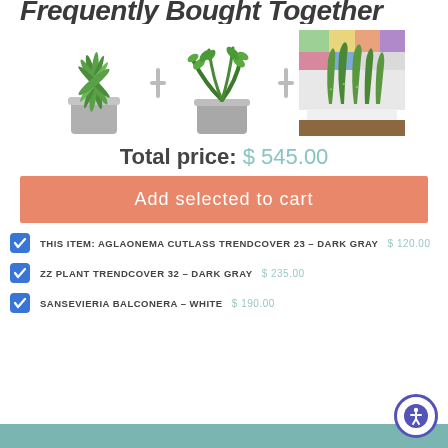Frequently Bought Together
[Figure (photo): Three plant products shown side by side with plus icons between them: Aglaonema Cutlass in dark gray pot, ZZ Plant in dark gray pot, and Sansevieria Balconera in white rectangular tray]
Total price: $ 545.00
Add selected to cart
THIS ITEM: AGLAONEMA CUTLASS TRENDCOVER 23 – DARK GRAY $120.00
ZZ PLANT TRENDCOVER 32 – DARK GRAY $235.00
SANSEVIERIA BALCONERA – WHITE $190.00